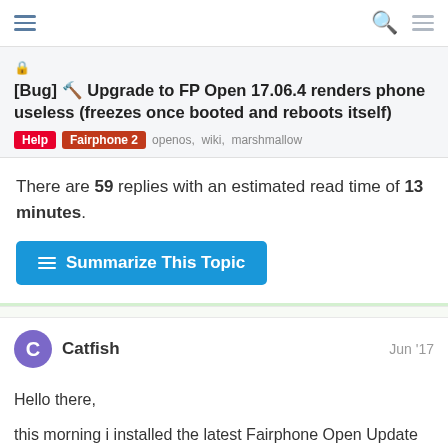Navigation header with hamburger menu, search, and menu icons
[Bug] Upgrade to FP Open 17.06.4 renders phone useless (freezes once booted and reboots itself)
Help  Fairphone 2  openos, wiki, marshmallow
There are 59 replies with an estimated read time of 13 minutes.
Summarize This Topic
Catfish  Jun '17
Hello there,

this morning i installed the latest Fairphone Open Update (17.06.4) via the Updater.
Unfortunately i didn't notice, that this is
Needless to say i didn't upgrade to Andr
1 / 60